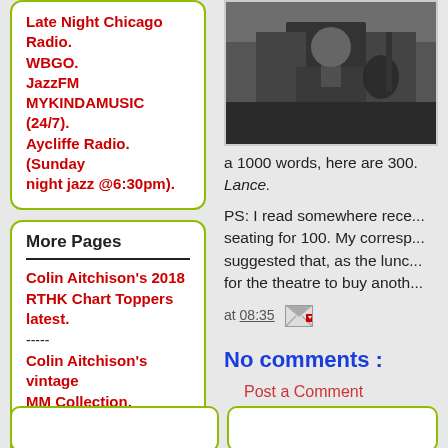Late Night Chicago Radio. WBGO. JazzFM MYKINDAMUSIC (24/7). Aycliffe Radio. (Sunday night jazz @6:30pm).
More Pages
Colin Aitchison's 2018 RTHK Chart Toppers latest.
-----
Colin Aitchison's vintage MM Collection.
-----
Photo Albums.
-----
Older Photo Albums.
-----
Groove Depository - Rare jazz vinyl.
-----
[Figure (photo): Photo of a musician on stage with a guitar, dark background]
a 1000 words, here are 300. Lance.
PS: I read somewhere rece... seating for 100. My corresp... suggested that, as the lunc... for the theatre to buy anoth...
at 08:35
No comments :
Post a Comment